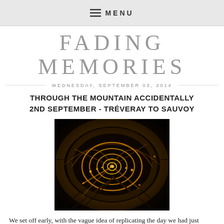≡ MENU
FADING MEMORIES
WEDNESDAY, SEPTEMBER 03, 2014
THROUGH THE MOUNTAIN ACCIDENTALLY 2ND SEPTEMBER - TRÉVERAY TO SAUVOY
[Figure (photo): Long-exposure photograph inside a dark tunnel showing golden swirling light trails from bicycle lights, creating spiral patterns against the dark tunnel walls and floor.]
We set off early, with the vague idea of replicating the day we had just